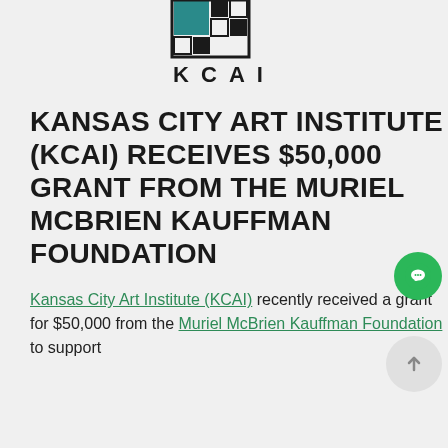[Figure (logo): KCAI Kansas City Art Institute logo — teal/black square grid with 'KCAI' text below]
KANSAS CITY ART INSTITUTE (KCAI) RECEIVES $50,000 GRANT FROM THE MURIEL MCBRIEN KAUFFMAN FOUNDATION
Kansas City Art Institute (KCAI) recently received a grant for $50,000 from the Muriel McBrien Kauffman Foundation to support